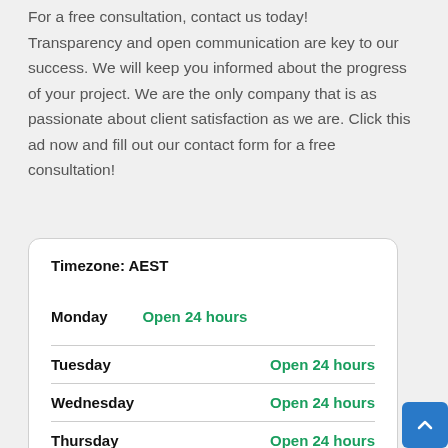For a free consultation, contact us today! Transparency and open communication are key to our success. We will keep you informed about the progress of your project. We are the only company that is as passionate about client satisfaction as we are. Click this ad now and fill out our contact form for a free consultation!
| Day | Hours |
| --- | --- |
| Monday | Open 24 hours |
| Tuesday | Open 24 hours |
| Wednesday | Open 24 hours |
| Thursday | Open 24 hours |